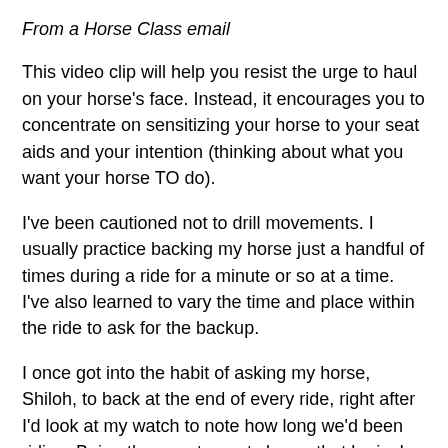From a Horse Class email
This video clip will help you resist the urge to haul on your horse's face. Instead, it encourages you to concentrate on sensitizing your horse to your seat aids and your intention (thinking about what you want your horse TO do).
I've been cautioned not to drill movements. I usually practice backing my horse just a handful of times during a ride for a minute or so at a time. I've also learned to vary the time and place within the ride to ask for the backup.
I once got into the habit of asking my horse, Shiloh, to back at the end of every ride, right after I'd look at my watch to note how long we'd been riding. Being the smarty-pants horse that he is, I noticed that Shiloh started to back up during the ride whenever I looked at my watch! I had not realized I'd paired looking at my watch with